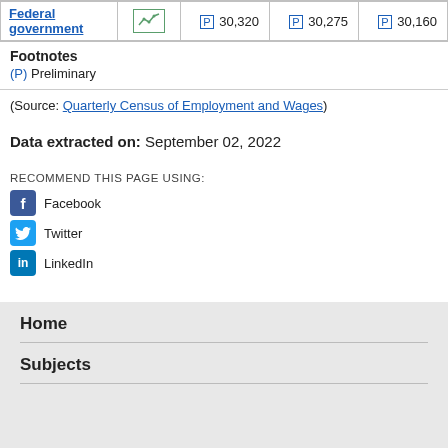| Federal government |  |  |  |  |
| --- | --- | --- | --- | --- |
| Federal government | [chart] | (P) 30,320 | (P) 30,275 | (P) 30,160 |
Footnotes
(P) Preliminary
(Source: Quarterly Census of Employment and Wages)
Data extracted on: September 02, 2022
RECOMMEND THIS PAGE USING: Facebook Twitter LinkedIn
Home
Subjects